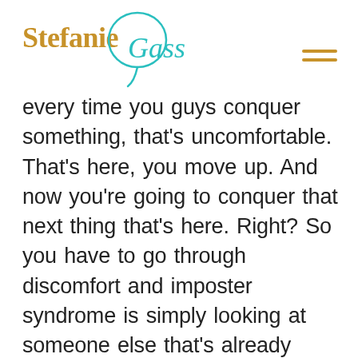Stefanie Gass [logo with hamburger menu]
every time you guys conquer something, that's uncomfortable. That's here, you move up. And now you're going to conquer that next thing that's here. Right? So you have to go through discomfort and imposter syndrome is simply looking at someone else that's already done what you want to do. And it's so it seems impossible. But guess what? That person was sitting where you sit weren't they, and in order for them to get there, they had to go through it. And they probably looked at